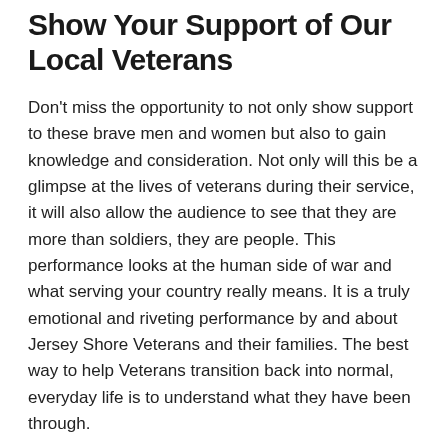Show Your Support of Our Local Veterans
Don't miss the opportunity to not only show support to these brave men and women but also to gain knowledge and consideration. Not only will this be a glimpse at the lives of veterans during their service, it will also allow the audience to see that they are more than soldiers, they are people. This performance looks at the human side of war and what serving your country really means. It is a truly emotional and riveting performance by and about Jersey Shore Veterans and their families. The best way to help Veterans transition back into normal, everyday life is to understand what they have been through.
Get your tickets now! All performances take place in the Black Box Theatre.